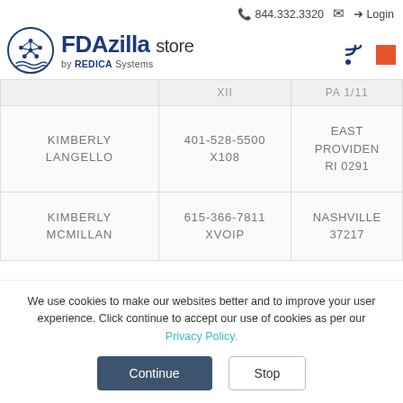844.332.3320  Login
[Figure (logo): FDAzilla store by REDICA Systems logo with circular network icon]
|  | XII | PA 1/11 |
| --- | --- | --- |
| KIMBERLY LANGELLO | 401-528-5500 X108 | EAST PROVIDENCE RI 0291 |
| KIMBERLY MCMILLAN | 615-366-7811 XVOIP | NASHVILLE 37217 |
We use cookies to make our websites better and to improve your user experience. Click continue to accept our use of cookies as per our Privacy Policy.
Continue  Stop